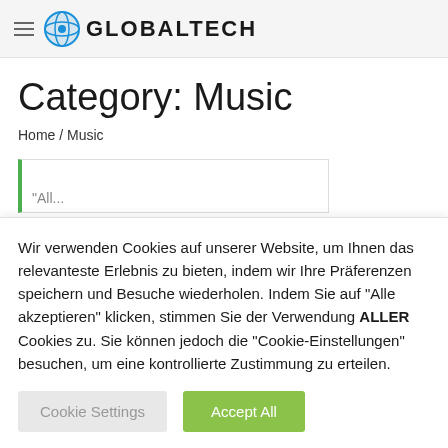GLOBALTECH
Category: Music
Home / Music
[Figure (screenshot): Partial article card with green left border, partially visible text]
Wir verwenden Cookies auf unserer Website, um Ihnen das relevanteste Erlebnis zu bieten, indem wir Ihre Präferenzen speichern und Besuche wiederholen. Indem Sie auf "Alle akzeptieren" klicken, stimmen Sie der Verwendung ALLER Cookies zu. Sie können jedoch die "Cookie-Einstellungen" besuchen, um eine kontrollierte Zustimmung zu erteilen.
Cookie Settings | Accept All